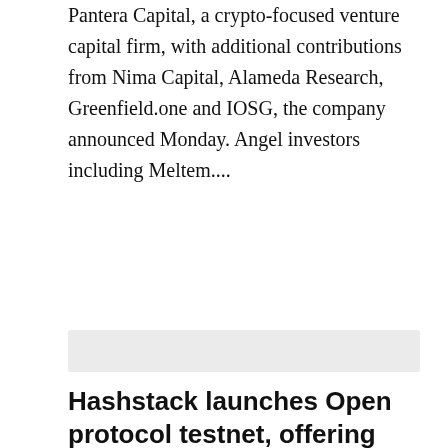Pantera Capital, a crypto-focused venture capital firm, with additional contributions from Nima Capital, Alameda Research, Greenfield.one and IOSG, the company announced Monday. Angel investors including Meltem….
[Figure (other): Gray divider bar / advertisement placeholder]
Hashstack launches Open protocol testnet, offering under-collateralized loans
Harmony's Ecosystem Fund financed Hashstack's solution to improving DeFi lending. The DeFi lending and borrowing market has grown significantly in volume as new lending protocols continue to attract capital and NFT-backed loans become more popular. According to Dune Analytics, the top three platforms in terms of market capitalization are Aave (AAVE), Maker (MKR) and